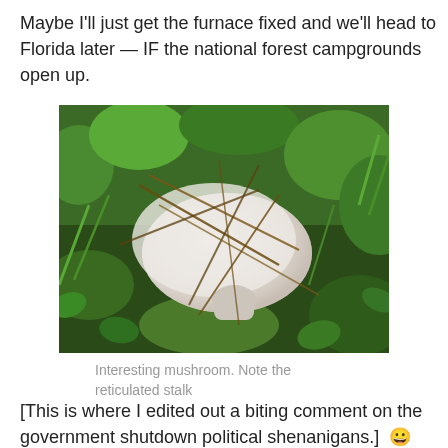Maybe I'll just get the furnace fixed and we'll head to Florida later — IF the national forest campgrounds open up.
[Figure (photo): Close-up photo of a white mushroom lying among green grass, leaves, and brown pine needles/twigs on the ground]
Interesting mushroom. Note the reticulated stalk
[This is where I edited out a biting comment on the government shutdown political shenanigans.] 😀